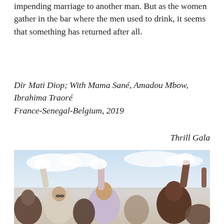impending marriage to another man. But as the women gather in the bar where the men used to drink, it seems that something has returned after all.
Dir Mati Diop; With Mama Sané, Amadou Mbow, Ibrahima Traoré
France-Senegal-Belgium, 2019
Thrill Gala
[Figure (photo): A crowd of people with arms raised holding white cloths or papers, photographed outdoors against a light sky. A woman in a lavender top is prominent in the center.]